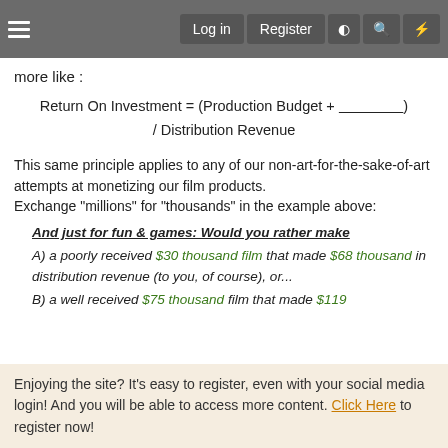Log in  Register
more like :
This same principle applies to any of our non-art-for-the-sake-of-art attempts at monetizing our film products.
Exchange "millions" for "thousands" in the example above:
And just for fun & games: Would you rather make
A) a poorly received $30 thousand film that made $68 thousand in distribution revenue (to you, of course), or...
B) a well received $75 thousand film that made $119
Enjoying the site? It's easy to register, even with your social media login! And you will be able to access more content. Click Here to register now!